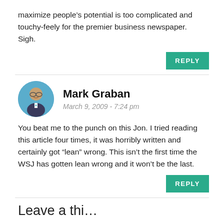maximize people’s potential is too complicated and touchy-feely for the premier business newspaper. Sigh.
REPLY
Mark Graban
March 9, 2009 - 7:24 pm
You beat me to the punch on this Jon. I tried reading this article four times, it was horribly written and certainly got “lean” wrong. This isn’t the first time the WSJ has gotten lean wrong and it won’t be the last.
REPLY
Leave a thi…